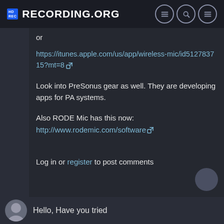Recording.org
or
https://itunes.apple.com/us/app/wireless-mic/id512783715?mt=8
Look into PreSonus gear as well. They are developing apps for PA systems.
Also RODE Mic has this now: http://www.rodemic.com/software
Log in or register to post comments
Hello, Have you tried